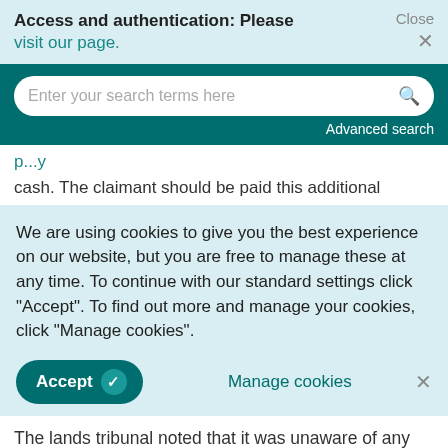Access and authentication: Please visit our page.
[Figure (screenshot): Search bar with placeholder text 'Enter your search terms here' and a magnifying glass icon, on a dark teal background, with 'Advanced search' link below.]
cash. The claimant should be paid this additional
We are using cookies to give you the best experience on our website, but you are free to manage these at any time. To continue with our standard settings click "Accept". To find out more and manage your cookies, click "Manage cookies".
The lands tribunal noted that it was unaware of any attempt to claim such a loss in the past, though